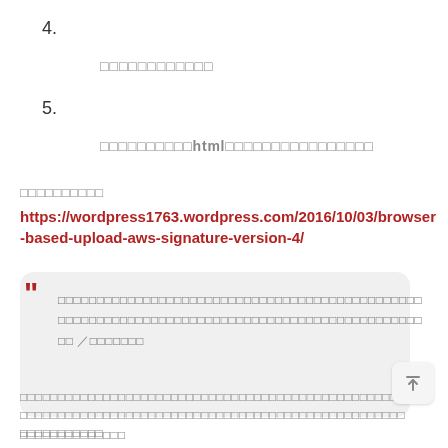4.
□□□□□□□□□□□□
5.
□□□□□□□□□□html□□□□□□□□□□□□□□□□
□□□□□□□□□□
https://wordpress1763.wordpress.com/2016/10/03/browser-based-upload-aws-signature-version-4/
□□□□□□□□□□□□□□□□□□□□□□□□□□□□□□□□□□□□□□□□□□□□□□□□□□□□□□□□□□□□□□□□□□□□□□□□□□□□□□□□□□□□□□□□ □□／□□□□□□□
□□□□□□□□□□□□□□□□□□□□□□□□□□□□□□□□□□□□□□□□□□□□□□□□□□□□□□□□□□□□□□□□□□□□□□□□□□□□□□□□□□□□□□□□□□□□□□□□□□□□□□□□□□□□□□□□□
□□□□□□□□□□□□□□